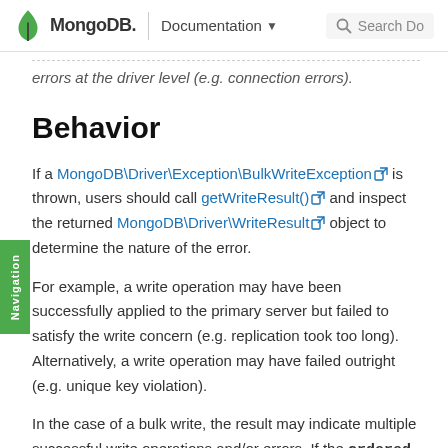MongoDB. | Documentation ▾   🔍 Search Do
errors at the driver level (e.g. connection errors).
Behavior
If a MongoDB\Driver\Exception\BulkWriteException is thrown, users should call getWriteResult() and inspect the returned MongoDB\Driver\WriteResult object to determine the nature of the error.
For example, a write operation may have been successfully applied to the primary server but failed to satisfy the write concern (e.g. replication took too long). Alternatively, a write operation may have failed outright (e.g. unique key violation).
In the case of a bulk write, the result may indicate multiple successful write operations and/or errors. If the ordered